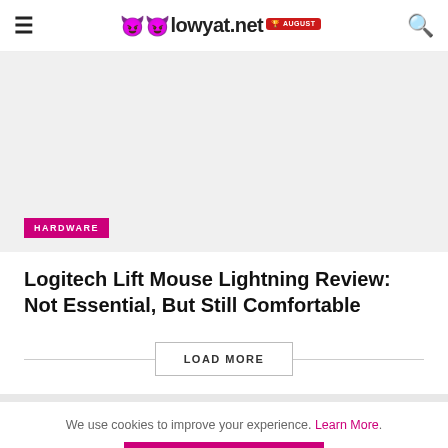lowyat.net AUGUST
[Figure (photo): Article hero image placeholder with light gray background, HARDWARE category badge in magenta at bottom left]
Logitech Lift Mouse Lightning Review: Not Essential, But Still Comfortable
LOAD MORE
We use cookies to improve your experience. Learn More.
AGREE & CLOSE